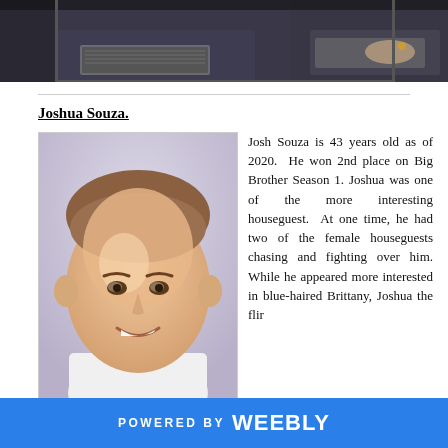[Figure (photo): Top banner photo showing people at laptops/computers, partially cropped]
Joshua Souza.
[Figure (photo): Portrait photo of a young man, Joshua Souza, smiling, wearing a white shirt]
Josh Souza is 43 years old as of 2020. He won 2nd place on Big Brother Season 1. Joshua was one of the more interesting houseguest. At one time, he had two of the female houseguests chasing and fighting over him. While he appeared more interested in blue-haired Brittany, Joshua the flir...
POWERED BY weebly